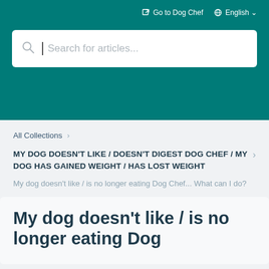Go to Dog Chef  English
[Figure (screenshot): Search bar with placeholder text 'Search for articles...']
All Collections >
MY DOG DOESN'T LIKE / DOESN'T DIGEST DOG CHEF / MY DOG HAS GAINED WEIGHT / HAS LOST WEIGHT
My dog doesn't like / is no longer eating Dog Chef... What can I do?
My dog doesn't like / is no longer eating Dog